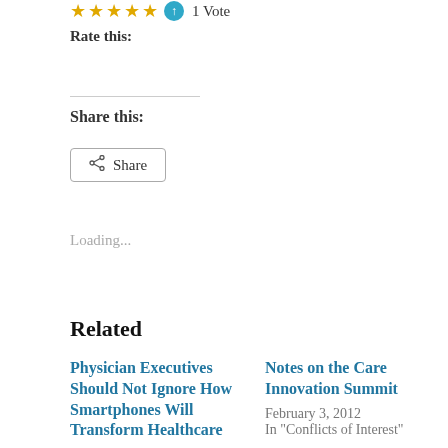★★★★★ 1 Vote
Rate this:
Share this:
Share
Loading...
Related
Physician Executives Should Not Ignore How Smartphones Will Transform Healthcare
February 1, 2011
Notes on the Care Innovation Summit
February 3, 2012
In "Conflicts of Interest"